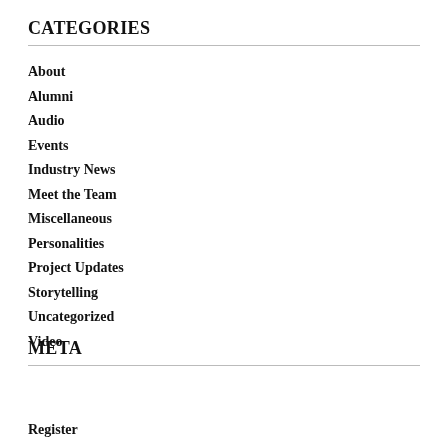CATEGORIES
About
Alumni
Audio
Events
Industry News
Meet the Team
Miscellaneous
Personalities
Project Updates
Storytelling
Uncategorized
Video
META
Register